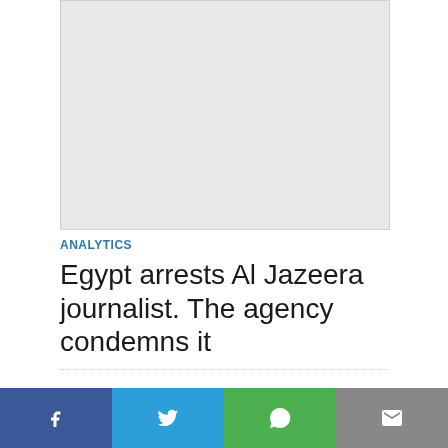[Figure (other): Grey placeholder ad/image block]
ANALYTICS
Egypt arrests Al Jazeera journalist. The agency condemns it
BE THE FIRST TO COMMENT